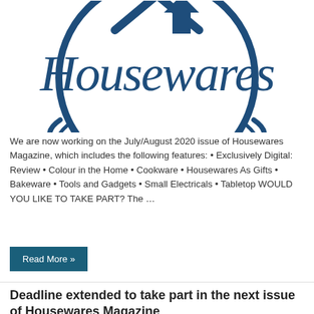[Figure (logo): Housewares magazine logo — circular emblem with a house/arrow shape at top and cursive 'Housewares' text in dark navy blue]
We are now working on the July/August 2020 issue of Housewares Magazine, which includes the following features: • Exclusively Digital: Review • Colour in the Home • Cookware • Housewares As Gifts • Bakeware • Tools and Gadgets • Small Electricals • Tabletop WOULD YOU LIKE TO TAKE PART? The …
Read More »
Deadline extended to take part in the next issue of Housewares Magazine
9th March 2020  News  Comments Off